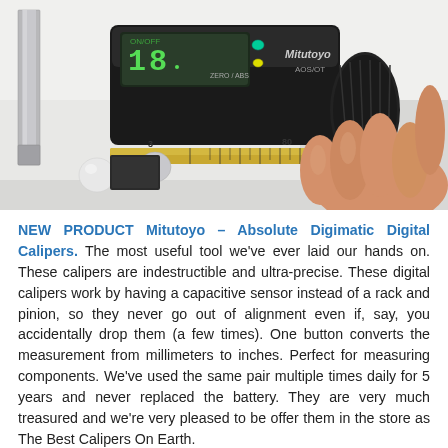[Figure (photo): A hand holding a Mitutoyo Absolute Digimatic digital caliper measuring a small round metallic object. The caliper has a black digital display showing a reading, yellow/gold scale bar with markings at 80 and 90, and Mitutoyo branding visible.]
NEW PRODUCT Mitutoyo – Absolute Digimatic Digital Calipers. The most useful tool we've ever laid our hands on. These calipers are indestructible and ultra-precise. These digital calipers work by having a capacitive sensor instead of a rack and pinion, so they never go out of alignment even if, say, you accidentally drop them (a few times). One button converts the measurement from millimeters to inches. Perfect for measuring components. We've used the same pair multiple times daily for 5 years and never replaced the battery. They are very much treasured and we're very pleased to be offer them in the store as The Best Calipers On Earth.